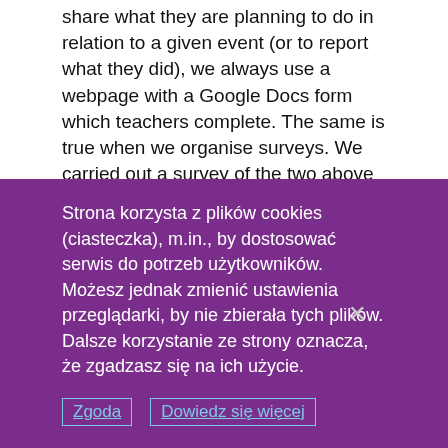share what they are planning to do in relation to a given event (or to report what they did), we always use a webpage with a Google Docs form which teachers complete. The same is true when we organise surveys. We carried out a survey of the two above mentioned publications by using Google Docs solutions as it makes it very easy to analyse results later.
In 2016 we are planning to organise a seminar to summarize the project for all the stakeholders (teachers, partners and NGOs). The seminar will also be accompanied by a project report with a presentation of good practices (40 pp, A4 color).
Strona korzysta z plików cookies (ciasteczka), m.in., by dostosować serwis do potrzeb użytkowników. Możesz jednak zmienić ustawienia przeglądarki, by nie zbierała tych plików. Dalsze korzystanie ze strony oznacza, że zgadzasz się na ich użycie.
Zgoda   Dowiedz się więcej